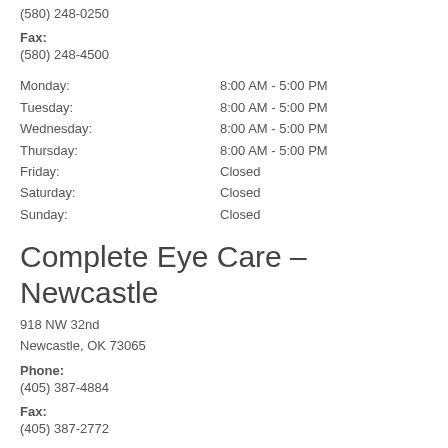(580) 248-0250
Fax:
(580) 248-4500
Monday: 8:00 AM - 5:00 PM
Tuesday: 8:00 AM - 5:00 PM
Wednesday: 8:00 AM - 5:00 PM
Thursday: 8:00 AM - 5:00 PM
Friday: Closed
Saturday: Closed
Sunday: Closed
Complete Eye Care – Newcastle
918 NW 32nd
Newcastle, OK 73065
Phone:
(405) 387-4884
Fax:
(405) 387-2772